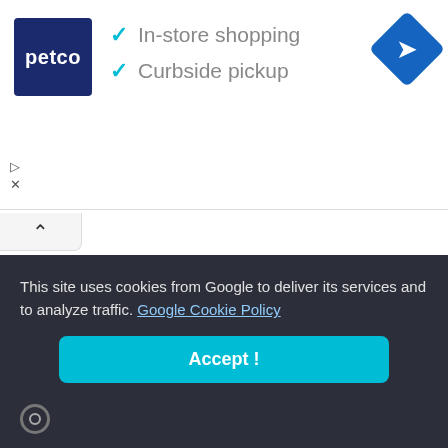[Figure (screenshot): Petco advertisement banner with logo, checkmarks for In-store shopping and Curbside pickup, and a blue navigation diamond icon]
In-store shopping
Curbside pickup
SYMPHONY
Symphony L140 HW4 Flash File 100% Tested (SC6531E)
DISCOVERI
Discoveri-y D20 Flash File 100% Tested
This site uses cookies from Google to deliver its services and to analyze traffic. Google Cookie Policy
Accept !